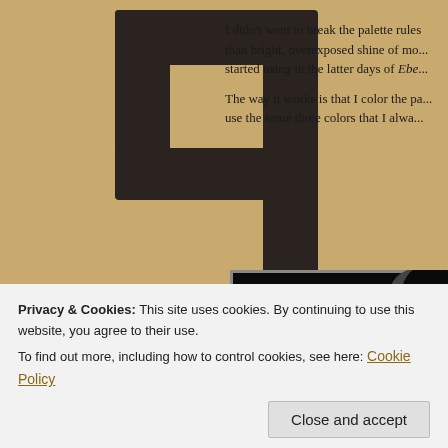[Figure (logo): Large stylized letter J or ligature character in dark brown/black, serving as a logo or decorative initial on a tan/khaki background]
I didn't want to break the palette rules than bright, overexposed shine of mo... started using in the latter days of Ebe...
The way it works is that I color the pa... use the same three colors that I alwa...
[Figure (illustration): Comic book or graphic novel panels: top panel shows a dark/black scene with a moon or light source; bottom panel shows manga-style figure with letters K and L visible, in grayscale]
Privacy & Cookies: This site uses cookies. By continuing to use this website, you agree to their use.
To find out more, including how to control cookies, see here: Cookie Policy
Close and accept